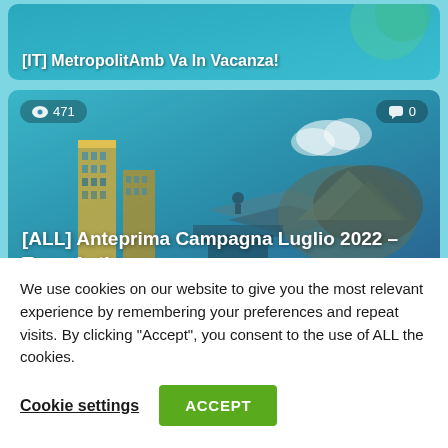[Figure (screenshot): Card showing '[IT] MetropolitAmb Va In Vacanza!' with teal background and decorative elements]
[IT] MetropolitAmb Va In Vacanza!
[Figure (screenshot): Card showing '[ALL] Anteprima Campagna Luglio 2022 – Terra Antica' with isometric city illustration, 471 views, 0 comments]
[ALL] Anteprima Campagna Luglio 2022 – Terra Antica
[Figure (screenshot): Partial card at bottom with dark background, showing 396 views]
We use cookies on our website to give you the most relevant experience by remembering your preferences and repeat visits. By clicking “Accept”, you consent to the use of ALL the cookies.
Cookie settings
ACCEPT